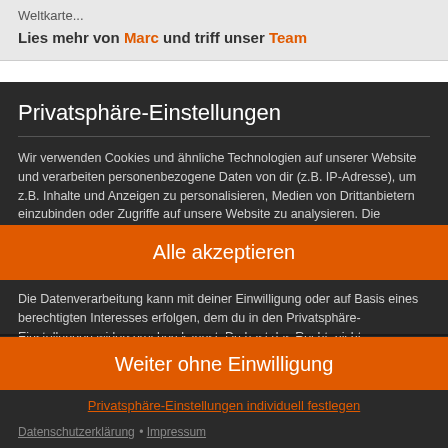Weltkarte...
Lies mehr von Marc und triff unser Team
Privatsphäre-Einstellungen
Wir verwenden Cookies und ähnliche Technologien auf unserer Website und verarbeiten personenbezogene Daten von dir (z.B. IP-Adresse), um z.B. Inhalte und Anzeigen zu personalisieren, Medien von Drittanbietern einzubinden oder Zugriffe auf unsere Website zu analysieren. Die Datenverarbeitung kann auch erst in Folge gesetzter Cookies stattfinden. Wir teilen diese Daten mit Dritten, die wir in den Privatsphäre-Einstellungen benennen.
Die Datenverarbeitung kann mit deiner Einwilligung oder auf Basis eines berechtigten Interesses erfolgen, dem du in den Privatsphäre-Einstellungen widersprechen kannst. Du hast das Recht, nicht einzuwilligen und deine Einwilligung...
Alle akzeptieren
Weiter ohne Einwilligung
Privatsphäre-Einstellungen individuell festlegen
Datenschutzerklärung • Impressum